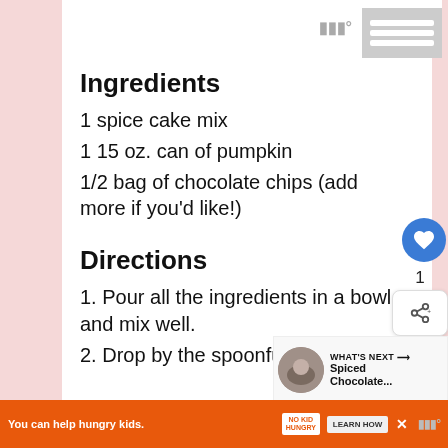Ingredients
1 spice cake mix
1 15 oz. can of pumpkin
1/2 bag of chocolate chips (add more if you'd like!)
Directions
1. Pour all the ingredients in a bowl and mix well.
2. Drop by the spoonful on greased
You can help hungry kids. NO KID HUNGRY LEARN HOW